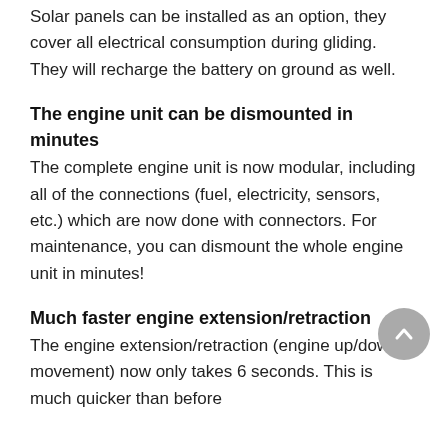Solar panels can be installed as an option, they cover all electrical consumption during gliding. They will recharge the battery on ground as well.
The engine unit can be dismounted in minutes
The complete engine unit is now modular, including all of the connections (fuel, electricity, sensors, etc.) which are now done with connectors. For maintenance, you can dismount the whole engine unit in minutes!
Much faster engine extension/retraction
The engine extension/retraction (engine up/down movement) now only takes 6 seconds. This is much quicker than before